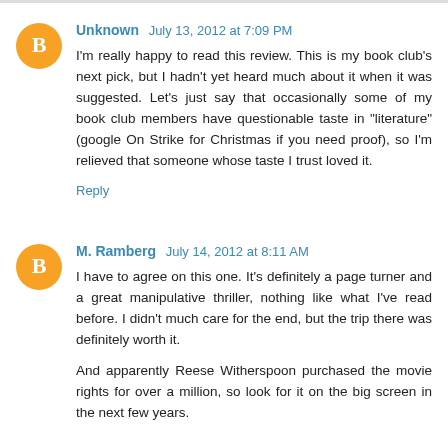Unknown  July 13, 2012 at 7:09 PM
I'm really happy to read this review. This is my book club's next pick, but I hadn't yet heard much about it when it was suggested. Let's just say that occasionally some of my book club members have questionable taste in "literature" (google On Strike for Christmas if you need proof), so I'm relieved that someone whose taste I trust loved it.
Reply
M. Ramberg  July 14, 2012 at 8:11 AM
I have to agree on this one. It's definitely a page turner and a great manipulative thriller, nothing like what I've read before. I didn't much care for the end, but the trip there was definitely worth it.
And apparently Reese Witherspoon purchased the movie rights for over a million, so look for it on the big screen in the next few years.